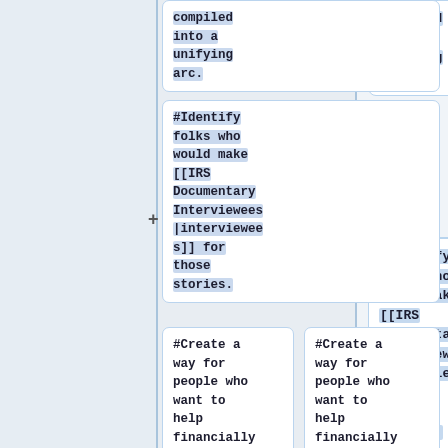compiled into a unifying arc.
#Identify folks who would make [[IRS Documentary Interviewees|interviewees]] for those stories.
#Create a way for people who want to help financially
#Create a way for people who want to help financially